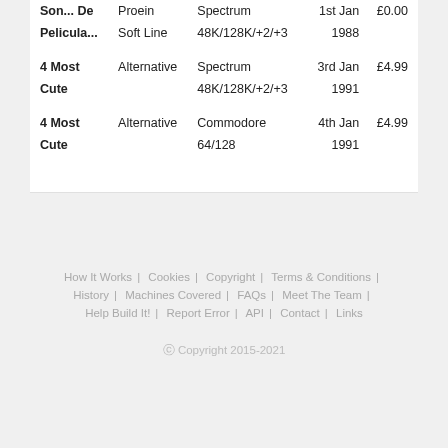| Son... De | Proein | Spectrum | 1st Jan | £0.00 |
| Pelicula... | Soft Line | 48K/128K/+2/+3 | 1988 |  |
| 4 Most Cute | Alternative | Spectrum | 3rd Jan | £4.99 |
|  |  | 48K/128K/+2/+3 | 1991 |  |
| 4 Most Cute | Alternative | Commodore 64/128 | 4th Jan 1991 | £4.99 |
How It Works | Cookies | Copyright | Terms & Conditions | History | Machines Covered | FAQs | Meet The Team | Help Build It! | Report Error | API | Contact | Links
© Copyright 2015-2021